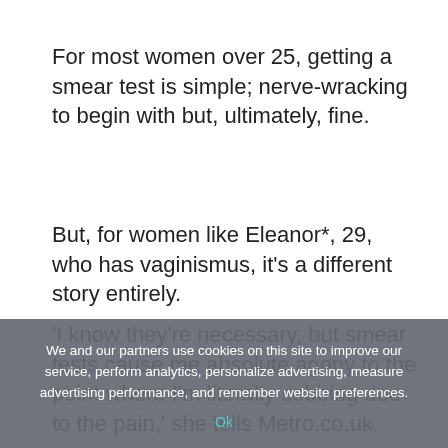For most women over 25, getting a smear test is simple; nerve-wracking to begin with but, ultimately, fine.
But, for women like Eleanor*, 29, who has vaginismus, it’s a different story entirely.
‘I know they’re necessary, but smear tests cause me absolute agony to the point where I’m literally sobbing due to the pain,’ she tells Metro.co.uk.
Vaginismus is a psychosomatic disorder that causes
We and our partners use cookies on this site to improve our service, perform analytics, personalize advertising, measure advertising performance, and remember website preferences.
Ok